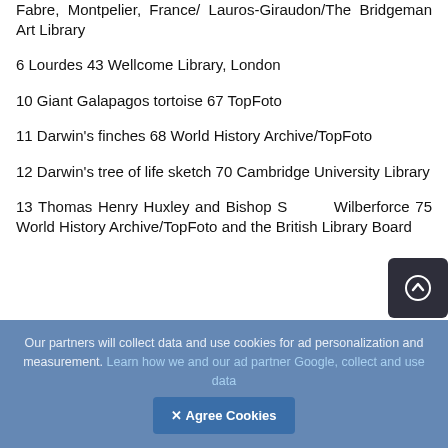Fabre, Montpelier, France/ Lauros-Giraudon/The Bridgeman Art Library
6 Lourdes 43 Wellcome Library, London
10 Giant Galapagos tortoise 67 TopFoto
11 Darwin's finches 68 World History Archive/TopFoto
12 Darwin's tree of life sketch 70 Cambridge University Library
13 Thomas Henry Huxley and Bishop Samuel Wilberforce 75 World History Archive/TopFoto and the British Library Board
Our partners will collect data and use cookies for ad personalization and measurement. Learn how we and our ad partner Google, collect and use data
[Figure (other): Agree Cookies button and scroll-to-top button overlay]